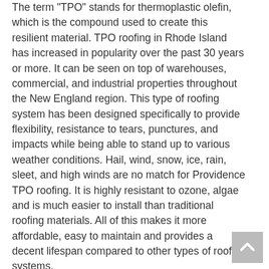The term "TPO" stands for thermoplastic olefin, which is the compound used to create this resilient material. TPO roofing in Rhode Island has increased in popularity over the past 30 years or more. It can be seen on top of warehouses, commercial, and industrial properties throughout the New England region. This type of roofing system has been designed specifically to provide flexibility, resistance to tears, punctures, and impacts while being able to stand up to various weather conditions. Hail, wind, snow, ice, rain, sleet, and high winds are no match for Providence TPO roofing. It is highly resistant to ozone, algae and is much easier to install than traditional roofing materials. All of this makes it more affordable, easy to maintain and provides a decent lifespan compared to other types of roofing systems.